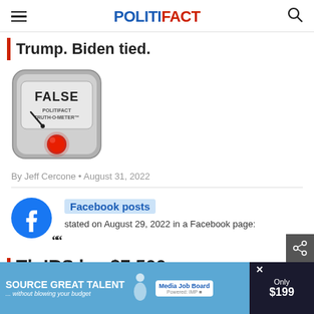POLITIFACT
Trump. Biden tied.
[Figure (illustration): PolitiFact Truth-O-Meter gauge showing FALSE rating with red indicator light]
By Jeff Cercone • August 31, 2022
Facebook posts stated on August 29, 2022 in a Facebook page:
Th... IRS h... $7,500 ag...